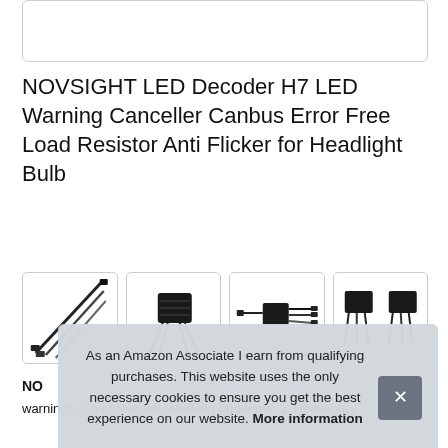[Figure (other): White rectangular image placeholder box at the top of the page]
NOVSIGHT LED Decoder H7 LED Warning Canceller Canbus Error Free Load Resistor Anti Flicker for Headlight Bulb
[Figure (photo): Row of four product thumbnail images showing black LED decoder/canbus module components with cables and connectors]
NO
warnings. Can solve the following problems: 1. Headlights
As an Amazon Associate I earn from qualifying purchases. This website uses the only necessary cookies to ensure you get the best experience on our website. More information